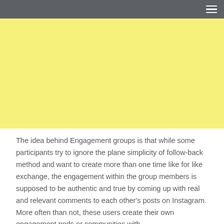[Figure (photo): Yellow/light yellow rectangular image placeholder block]
The idea behind Engagement groups is that while some participants try to ignore the plane simplicity of follow-back method and want to create more than one time like for like exchange, the engagement within the group members is supposed to be authentic and true by coming up with real and relevant comments to each other's posts on Instagram. More often than not, these users create their own engagement pods or communities with